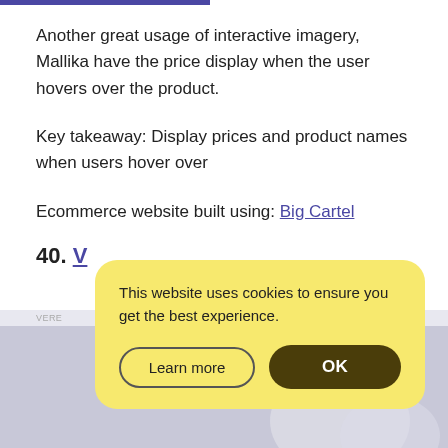Another great usage of interactive imagery, Mallika have the price display when the user hovers over the product.
Key takeaway: Display prices and product names when users hover over
Ecommerce website built using: Big Cartel
40. [link partially obscured]
[Figure (screenshot): Screenshot of a website partially obscured by a cookie consent popup with yellow background reading 'This website uses cookies to ensure you get the best experience.' with 'Learn more' and 'OK' buttons.]